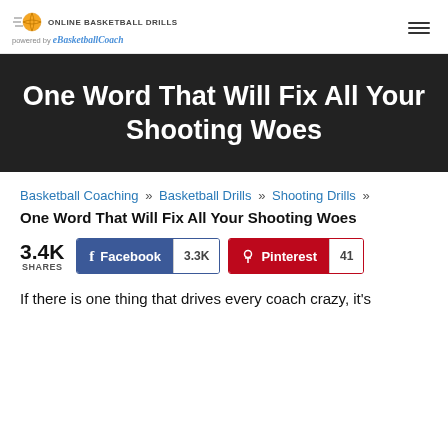[Figure (logo): Online Basketball Drills logo with basketball icon and speed lines, powered by eBasketballCoach text below]
One Word That Will Fix All Your Shooting Woes
Basketball Coaching » Basketball Drills » Shooting Drills »
One Word That Will Fix All Your Shooting Woes
3.4K SHARES  Facebook 3.3K  Pinterest 41
If there is one thing that drives every coach crazy, it's